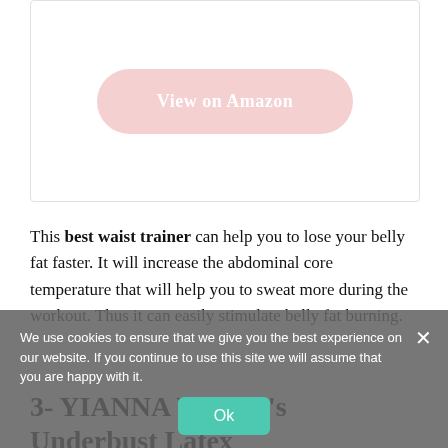[Figure (other): Product image box (white background) with a pale pink rounded button labeled 'View on Amazon']
This best waist trainer can help you to lose your belly fat faster. It will increase the abdominal core temperature that will help you to sweat more during the workout. Thus it can easily stimulate belly fat burning.
We use cookies to ensure that we give you the best experience on our website. If you continue to use this site we will assume that you are happy with it.
3- YIANNA Women's Underbust Latex